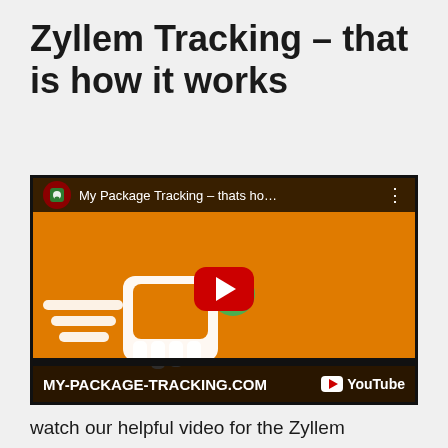Zyllem Tracking – that is how it works
[Figure (screenshot): YouTube video thumbnail for 'My Package Tracking - thats ho...' showing orange background with package tracking logo, play button, and MY-PACKAGE-TRACKING.COM text at bottom]
watch our helpful video for the Zyllem shipment tracking. The tracking and tracing of Zyllem shipments is very easy follow the...